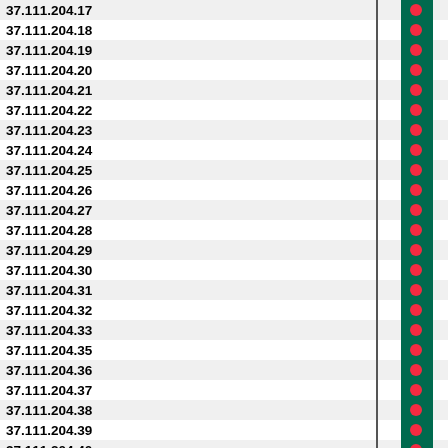| IP Address | Flag |
| --- | --- |
| 37.111.204.17 | BD |
| 37.111.204.18 | BD |
| 37.111.204.19 | BD |
| 37.111.204.20 | BD |
| 37.111.204.21 | BD |
| 37.111.204.22 | BD |
| 37.111.204.23 | BD |
| 37.111.204.24 | BD |
| 37.111.204.25 | BD |
| 37.111.204.26 | BD |
| 37.111.204.27 | BD |
| 37.111.204.28 | BD |
| 37.111.204.29 | BD |
| 37.111.204.30 | BD |
| 37.111.204.31 | BD |
| 37.111.204.32 | BD |
| 37.111.204.33 | BD |
| 37.111.204.35 | BD |
| 37.111.204.36 | BD |
| 37.111.204.37 | BD |
| 37.111.204.38 | BD |
| 37.111.204.39 | BD |
| 37.111.204.40 | BD |
| 37.111.204.41 | BD |
| 37.111.204.42 | BD |
| 37.111.204.43 | BD |
| 37.111.204.44 | BD |